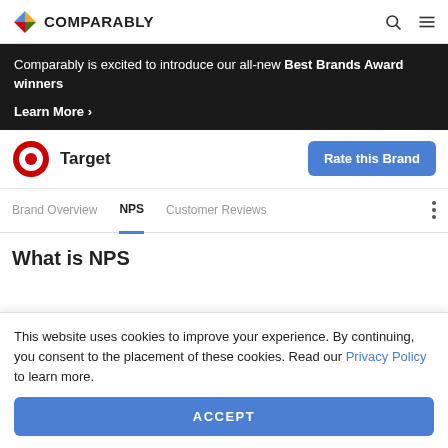COMPARABLY
Comparably is excited to introduce our all-new Best Brands Award winners
Learn More >
Target
Rate this Brand
Brand Overview   NPS   Customer Reviews
What is NPS
This website uses cookies to improve your experience. By continuing, you consent to the placement of these cookies. Read our Privacy Policy to learn more.
ACCEPT